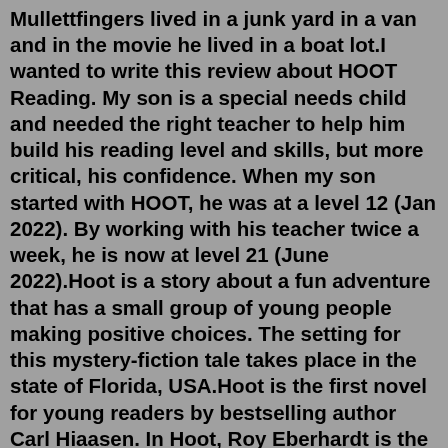Mullettfingers lived in a junk yard in a van and in the movie he lived in a boat lot.I wanted to write this review about HOOT Reading. My son is a special needs child and needed the right teacher to help him build his reading level and skills, but more critical, his confidence. When my son started with HOOT, he was at a level 12 (Jan 2022). By working with his teacher twice a week, he is now at level 21 (June 2022).Hoot is a story about a fun adventure that has a small group of young people making positive choices. The setting for this mystery-fiction tale takes place in the state of Florida, USA.Hoot is the first novel for young readers by bestselling author Carl Hiaasen. In Hoot, Roy Eberhardt is the new kid in school and as such he is the current target of school bully, Dana Matherson. While under attack on the school bus by Dana, Roy sees a barefoot boy running away from the bus stop. Roy becomes fascinated with this boy, determined ... Hoot hoot book chapter 9-10. why does roy try to avoid giving his parents reasons to worry? Asked by Hailey S #826242 on 10/2/2019 11:27 PM Last...